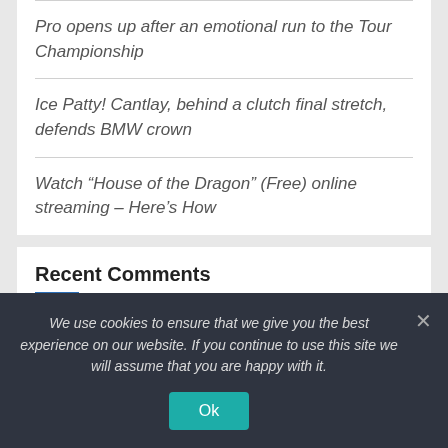Pro opens up after an emotional run to the Tour Championship
Ice Patty! Cantlay, behind a clutch final stretch, defends BMW crown
Watch “House of the Dragon” (Free) online streaming – Here’s How
Recent Comments
No comments to show.
We use cookies to ensure that we give you the best experience on our website. If you continue to use this site we will assume that you are happy with it.